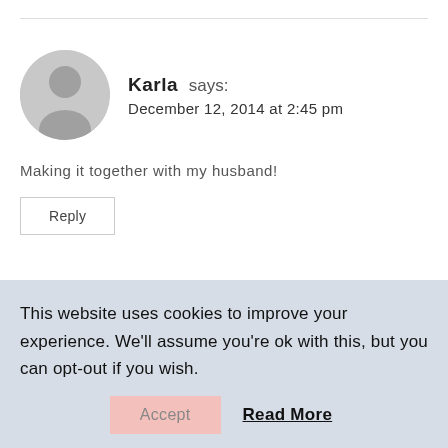Karla says:
December 12, 2014 at 2:45 pm
Making it together with my husband!
Reply
Elaine Stewman says:
This website uses cookies to improve your experience. We'll assume you're ok with this, but you can opt-out if you wish.
Accept
Read More